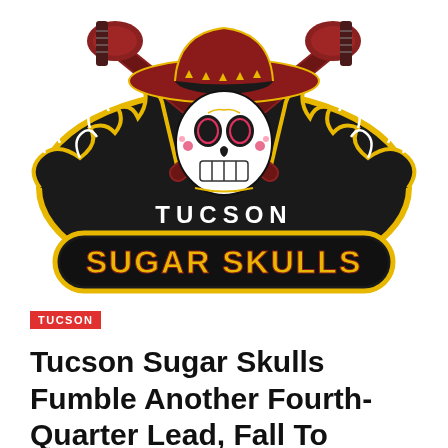[Figure (logo): Tucson Sugar Skulls team logo featuring a sugar skull wearing a sombrero, crossed guitars, and skeletal hands gripping a bone-shaped banner with 'TUCSON SUGAR SKULLS' text in gold and black lettering with red outlines.]
TUCSON
Tucson Sugar Skulls Fumble Another Fourth-Quarter Lead, Fall To Northern Arizona 34-32 | Sugar